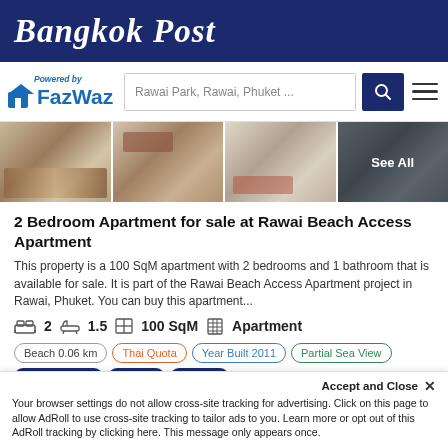Bangkok Post
[Figure (logo): FazWaz logo with 'Powered by' text and house icon]
Rawai Park, Rawai, Phuket ...
[Figure (photo): Photo strip of apartment interior images with See All overlay]
2 Bedroom Apartment for sale at Rawai Beach Access Apartment
This property is a 100 SqM apartment with 2 bedrooms and 1 bathroom that is available for sale. It is part of the Rawai Beach Access Apartment project in Rawai, Phuket. You can buy this apartment...
2 bedrooms, 1.5 bathrooms, 100 SqM, Apartment
Beach 0.06 km | Thai Quota | Year Built 2011 | Partial Sea View | Beach Access | Terrace | Balcony
Request Details | Schedule Viewing
Accept and Close ✕ Your browser settings do not allow cross-site tracking for advertising. Click on this page to allow AdRoll to use cross-site tracking to tailor ads to you. Learn more or opt out of this AdRoll tracking by clicking here. This message only appears once.